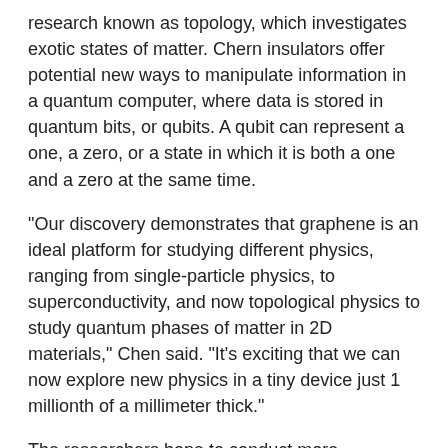research known as topology, which investigates exotic states of matter. Chern insulators offer potential new ways to manipulate information in a quantum computer, where data is stored in quantum bits, or qubits. A qubit can represent a one, a zero, or a state in which it is both a one and a zero at the same time.
"Our discovery demonstrates that graphene is an ideal platform for studying different physics, ranging from single-particle physics, to superconductivity, and now topological physics to study quantum phases of matter in 2D materials," Chen said. "It's exciting that we can now explore new physics in a tiny device just 1 millionth of a millimeter thick."
The researchers hope to conduct more experiments with their graphene device to have a better understanding of how the Chern insulator/magnet emerged, and the mechanics behind its unusual properties.
###
Researchers from Berkeley Lab; UC Berkeley; Stanford University;